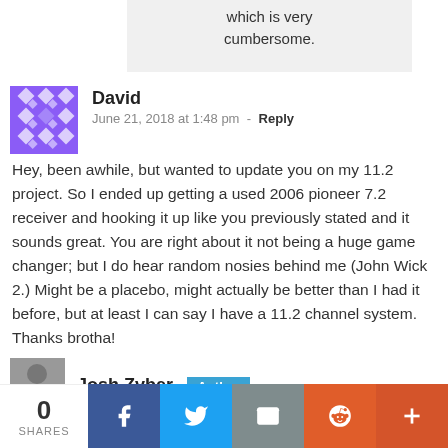which is very cumbersome.
David
June 21, 2018 at 1:48 pm - Reply
Hey, been awhile, but wanted to update you on my 11.2 project. So I ended up getting a used 2006 pioneer 7.2 receiver and hooking it up like you previously stated and it sounds great. You are right about it not being a huge game changer; but I do hear random nosies behind me (John Wick 2.) Might be a placebo, might actually be better than I had it before, but at least I can say I have a 11.2 channel system. Thanks brotha!
Josh Zvber Author
0 SHARES | Facebook | Twitter | Email | Reddit | More